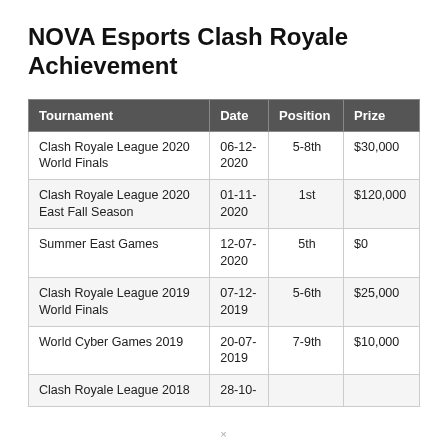NOVA Esports Clash Royale Achievement
| Tournament | Date | Position | Prize |
| --- | --- | --- | --- |
| Clash Royale League 2020 World Finals | 06-12-2020 | 5-8th | $30,000 |
| Clash Royale League 2020 East Fall Season | 01-11-2020 | 1st | $120,000 |
| Summer East Games | 12-07-2020 | 5th | $0 |
| Clash Royale League 2019 World Finals | 07-12-2019 | 5-6th | $25,000 |
| World Cyber Games 2019 | 20-07-2019 | 7-9th | $10,000 |
| Clash Royale League 2018 | 28-10- |  |  |
×